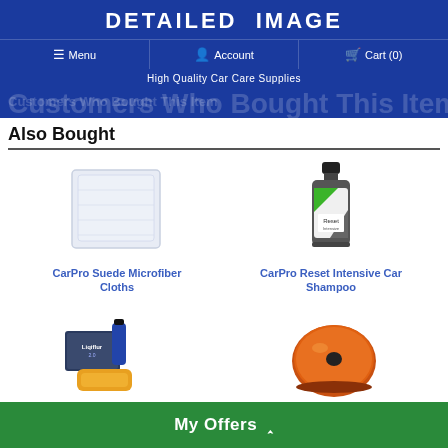[Figure (logo): Detailed Image logo - white bold text on dark blue background]
Menu  Account  Cart (0)
High Quality Car Care Supplies
Customers Who Bought This Item Also Bought
[Figure (photo): CarPro Suede Microfiber Cloths - white/light gray folded microfiber cloth]
CarPro Suede Microfiber Cloths
[Figure (photo): CarPro Reset Intensive Car Shampoo - dark bottle with green and white label]
CarPro Reset Intensive Car Shampoo
[Figure (photo): CarPro Cquartz coating kit with applicator and sponge]
CarPro Cquartz Coating
[Figure (photo): Orange foam polishing pad]
Polishing Pad
My Offers